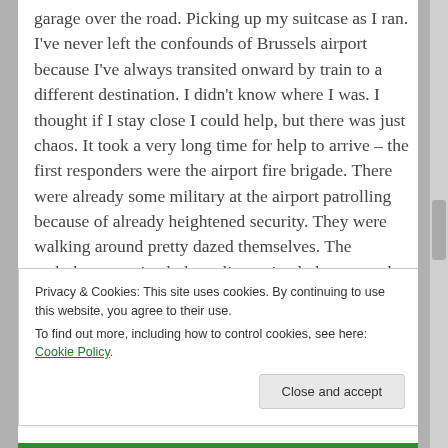garage over the road. Picking up my suitcase as I ran. I've never left the confounds of Brussels airport because I've always transited onward by train to a different destination. I didn't know where I was. I thought if I stay close I could help, but there was just chaos. It took a very long time for help to arrive – the first responders were the airport fire brigade. There were already some military at the airport patrolling because of already heightened security. They were walking around pretty dazed themselves. The ambulances arrived, the police arrived, they started to carry out the wounded – and dead – on stretchers. I think they all must have been under the rubble because I couldn't immediately see anyone before I left. Then a
Privacy & Cookies: This site uses cookies. By continuing to use this website, you agree to their use.
To find out more, including how to control cookies, see here: Cookie Policy
Close and accept